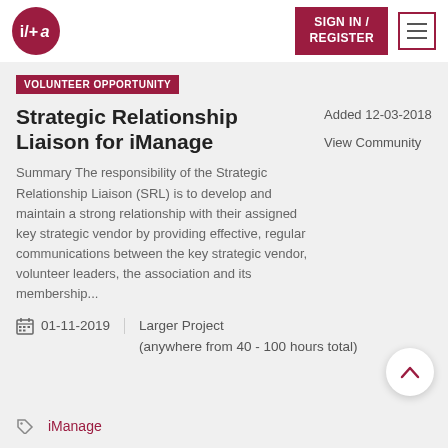i/+a | SIGN IN / REGISTER
VOLUNTEER OPPORTUNITY
Strategic Relationship Liaison for iManage
Summary The responsibility of the Strategic Relationship Liaison (SRL) is to develop and maintain a strong relationship with their assigned key strategic vendor by providing effective, regular communications between the key strategic vendor, volunteer leaders, the association and its membership...
Added 12-03-2018
View Community
01-11-2019   Larger Project (anywhere from 40 - 100 hours total)
iManage